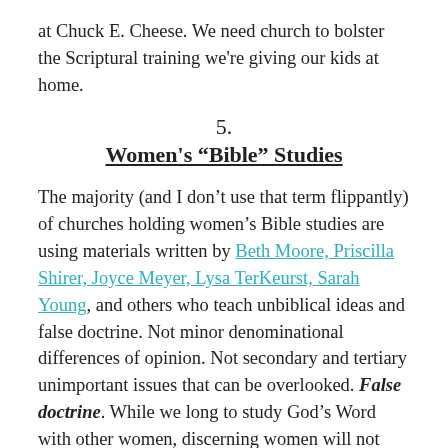at Chuck E. Cheese. We need church to bolster the Scriptural training we're giving our kids at home.
5.
Women's "Bible" Studies
The majority (and I don't use that term flippantly) of churches holding women's Bible studies are using materials written by Beth Moore, Priscilla Shirer, Joyce Meyer, Lysa TerKeurst, Sarah Young, and others who teach unbiblical ideas and false doctrine. Not minor denominational differences of opinion. Not secondary and tertiary unimportant issues that can be overlooked. False doctrine. While we long to study God's Word with other women, discerning women will not sacrifice sound doctrine nor the integrity of Scripture to do so.